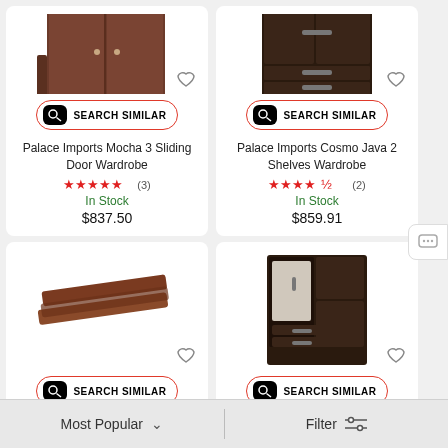[Figure (photo): Palace Imports Mocha 3 Sliding Door Wardrobe product photo - dark brown wood wardrobe with sliding doors]
SEARCH SIMILAR
Palace Imports Mocha 3 Sliding Door Wardrobe
★★★★★ (3)
In Stock
$837.50
[Figure (photo): Palace Imports Cosmo Java 2 Shelves Wardrobe product photo - dark wardrobe with shelves and drawers]
SEARCH SIMILAR
Palace Imports Cosmo Java 2 Shelves Wardrobe
★★★★½ (2)
In Stock
$859.91
[Figure (photo): Dark brown wooden shelf boards / panels product photo]
SEARCH SIMILAR
[Figure (photo): Dark brown wardrobe with mirror and drawers product photo]
SEARCH SIMILAR
Most Popular
Filter